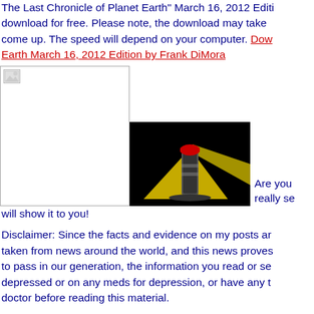The Last Chronicle of Planet Earth" March 16, 2012 Edition download for free. Please note, the download may take come up. The speed will depend on your computer. Download The Last Chronicle of Planet Earth March 16, 2012 Edition by Frank DiMora
[Figure (photo): Two images side by side: a blank white placeholder image on the left, and a dark image of a lighthouse with a yellow/red beam of light on a black background on the right.]
Are you really se will show it to you!
Disclaimer: Since the facts and evidence on my posts are taken from news around the world, and this news proves to pass in our generation, the information you read or see depressed or on any meds for depression, or have any t doctor before reading this material.
If you would like me to come to your Church to give a pr either by writing to my P.O Box, or email me at fidimora0